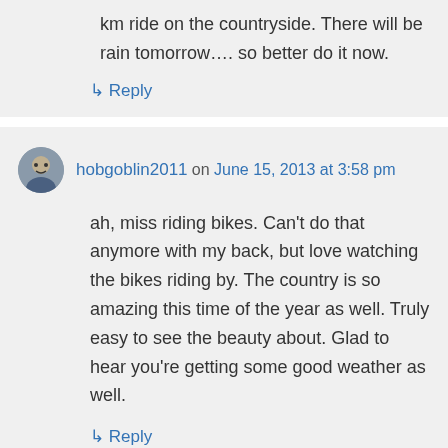km ride on the countryside. There will be rain tomorrow…. so better do it now.
↳ Reply
hobgoblin2011 on June 15, 2013 at 3:58 pm
ah, miss riding bikes. Can't do that anymore with my back, but love watching the bikes riding by. The country is so amazing this time of the year as well. Truly easy to see the beauty about. Glad to hear you're getting some good weather as well.
↳ Reply